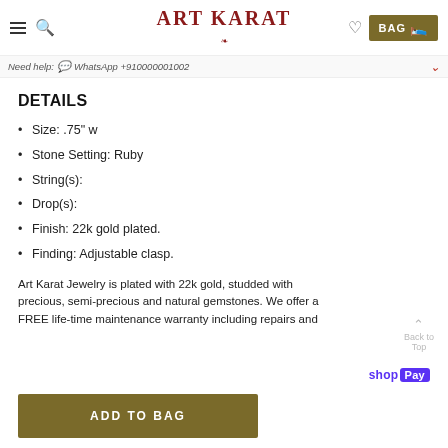Art Karat — BAG
Need help? WhatsApp +910000001002
DETAILS
Size: .75" w
Stone Setting: Ruby
String(s):
Drop(s):
Finish: 22k gold plated.
Finding: Adjustable clasp.
Art Karat Jewelry is plated with 22k gold, studded with precious, semi-precious and natural gemstones. We offer a FREE life-time maintenance warranty including repairs and
shop Pay
ADD TO BAG